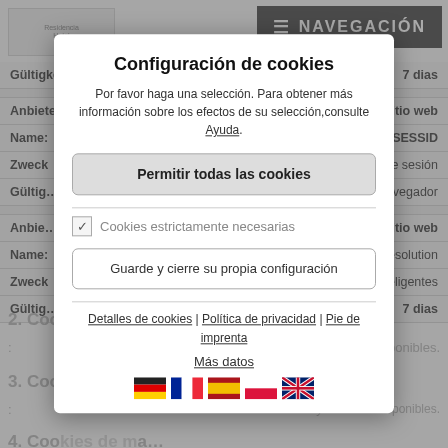[Figure (screenshot): Navigation bar with logo on left and NAVEGACIÓN button on right]
| Field | Value |
| --- | --- |
| Gültigkeit: | 7 dias |
| Anbieter: | Este sitio web |
| Name: | PHPSESSID |
| Zweck: | …información de sesión |
| Gültigkeit: | …parar el navegador |
| Anbieter: | …itio web |
| Name: | …resolution |
| Zweck: | …eligentes |
| Gültigkeit: | 7 dias |
2. Coo… (Cookies funcionales)
: …disponibles.
3. Coo…kies de rendimiento
: No hay entradas disponibles.
4. Coo…kies de ma…
[Figure (screenshot): Cookie configuration modal dialog with title 'Configuración de cookies', description text with Ayuda link, 'Permitir todas las cookies' button, 'Cookies estrictamente necesarias' checkbox, 'Guarde y cierre su propia configuración' button, footer links, Más datos link, and language flag icons for German, French, Spanish, Polish, English]
Configuración de cookies
Por favor haga una selección. Para obtener más información sobre los efectos de su selección,consulte Ayuda.
Permitir todas las cookies
Cookies estrictamente necesarias
Guarde y cierre su propia configuración
Detalles de cookies | Política de privacidad | Pie de imprenta
Más datos